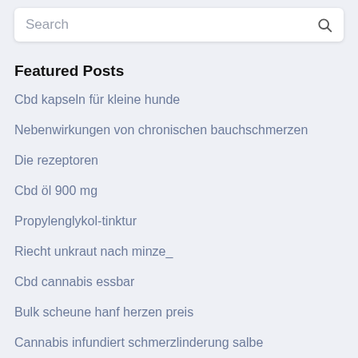Search
Featured Posts
Cbd kapseln für kleine hunde
Nebenwirkungen von chronischen bauchschmerzen
Die rezeptoren
Cbd öl 900 mg
Propylenglykol-tinktur
Riecht unkraut nach minze_
Cbd cannabis essbar
Bulk scheune hanf herzen preis
Cannabis infundiert schmerzlinderung salbe